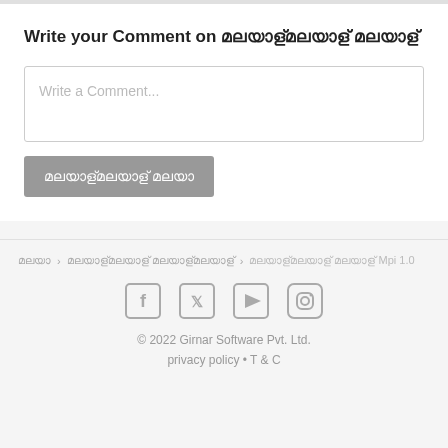Write your Comment on മലയാളം മലയാളം
[Figure (screenshot): Comment input text box with placeholder text 'Write a Comment...']
[Figure (screenshot): Gray submit button with Malayalam text]
മലയാളം > മലയാളം മലയാളം മലയാളം > മലയാളം മലയാളം Mpi 1.0
[Figure (infographic): Social media icons: Facebook, Twitter, YouTube, Instagram]
© 2022 Girnar Software Pvt. Ltd. privacy policy • T & C